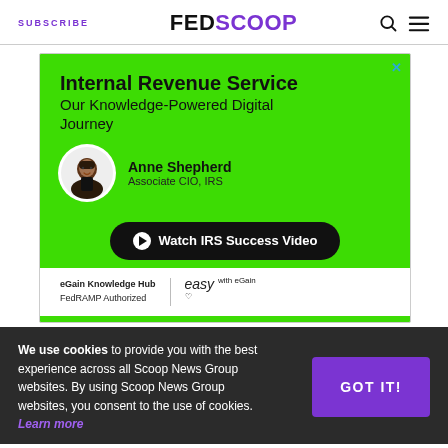SUBSCRIBE | FEDSCOOP
[Figure (infographic): IRS advertisement: 'Internal Revenue Service Our Knowledge-Powered Digital Journey' featuring Anne Shepherd, Associate CIO IRS. Green background with a black 'Watch IRS Success Video' button. eGain Knowledge Hub, FedRAMP Authorized branding at bottom.]
We use cookies to provide you with the best experience across all Scoop News Group websites. By using Scoop News Group websites, you consent to the use of cookies. Learn more
Do no harm and stay flexible — those are the two